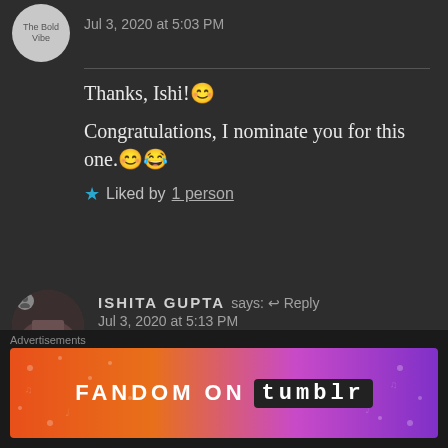Jul 3, 2020 at 5:03 PM
Thanks, Ishi!😊
Congratulations, I nominate you for this one.😊😂
★ Liked by 1 person
ISHITA GUPTA says: ↩ Reply
Jul 3, 2020 at 5:13 PM
♥♥
Thank you so much!! But I
Advertisements
[Figure (infographic): FANDOM ON tumblr advertisement banner with colorful gradient background from orange to purple]